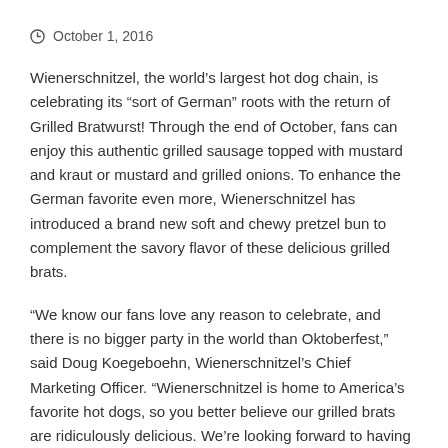October 1, 2016
Wienerschnitzel, the world’s largest hot dog chain, is celebrating its “sort of German” roots with the return of Grilled Bratwurst! Through the end of October, fans can enjoy this authentic grilled sausage topped with mustard and kraut or mustard and grilled onions. To enhance the German favorite even more, Wienerschnitzel has introduced a brand new soft and chewy pretzel bun to complement the savory flavor of these delicious grilled brats.
“We know our fans love any reason to celebrate, and there is no bigger party in the world than Oktoberfest,” said Doug Koegeboehn, Wienerschnitzel’s Chief Marketing Officer. “Wienerschnitzel is home to America’s favorite hot dogs, so you better believe our grilled brats are ridiculously delicious. We’re looking forward to having some fun and celebrating this historic holiday because nothing says Oktoberfest more than bratwurst… especially in our new pretzel bun.”
Guests can add a taste of Oktoberfest to any Wienerschnitzel hot dog item with the option to substitute a grilled bratwurst. Additionally, fans